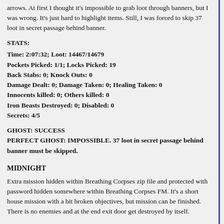arrows. At first I thought it's impossible to grab loot through banners, but I was wrong. It's just hard to highlight items. Still, I was forced to skip 37 loot in secret passage behind banner.
STATS:
Time: 2:07:32; Loot: 14467/14679
Pockets Picked: 1/1; Locks Picked: 19
Back Stabs: 0; Knock Outs: 0
Damage Dealt: 0; Damage Taken: 0; Healing Taken: 0
Innocents killed: 0; Others killed: 0
Iron Beasts Destroyed: 0; Disabled: 0
Secrets: 4/5
GHOST: SUCCESS
PERFECT GHOST: IMPOSSIBLE. 37 loot in secret passage behind banner must be skipped.
MIDNIGHT
Extra mission hidden within Breathing Corpses zip file and protected with password hidden somewhere within Breathing Corpses FM. It's a short house mission with a bit broken objectives, but mission can be finished. There is no enemies and at the end exit door get destroyed by itself.
STATS:
Time: 0:02:39; Loot: 0/0